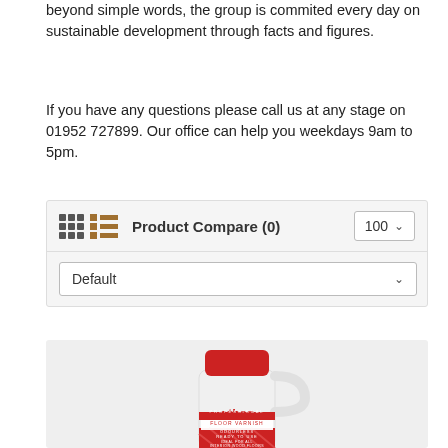beyond simple words, the group is commited every day on sustainable development through facts and figures.
If you have any questions please call us at any stage on 01952 727899. Our office can help you weekdays 9am to 5pm.
[Figure (screenshot): Product Compare toolbar with grid/list view icons, 'Product Compare (0)' label, a '100' count dropdown, and a 'Default' sort dropdown]
[Figure (photo): Athen Floor Varnish product bottle — white bottle with red cap and red label reading 'athen FLOOR VARNISH, ODOURLESS, READY TO USE, IDEAL FOR ALL INTERIOR WOOD FLOORS']